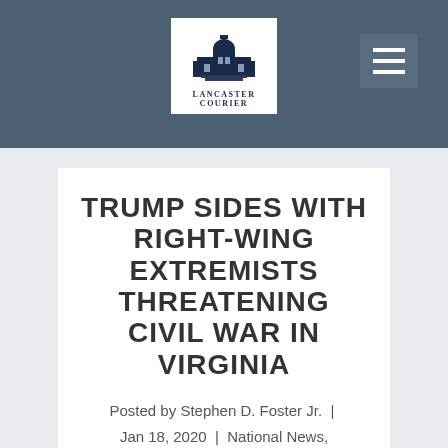[Figure (logo): Lancaster Courier logo: white box with dark blue Capitol building silhouette and text 'Lancaster Courier' below]
TRUMP SIDES WITH RIGHT-WING EXTREMISTS THREATENING CIVIL WAR IN VIRGINIA
Posted by Stephen D. Foster Jr. | Jan 18, 2020 | National News, Trump | 0 | ★★★★★